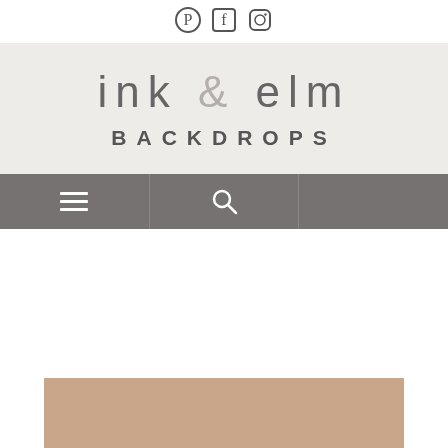Social icons: Pinterest, Facebook, Instagram
[Figure (logo): Ink & Elm Backdrops logo with stylized text on light gray textured background]
[Figure (infographic): Navigation bar with hamburger menu icon, search icon, and empty third cell on gray background]
[Figure (photo): Partial tan/beige colored rectangular image at bottom of page]